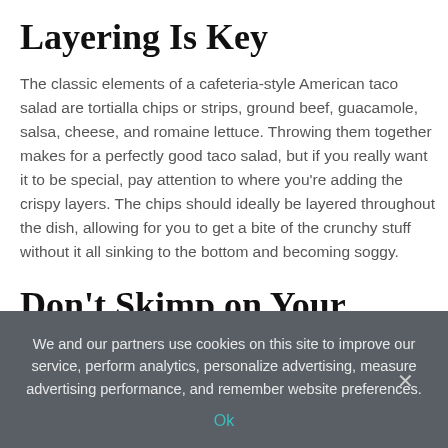Layering Is Key
The classic elements of a cafeteria-style American taco salad are tortialla chips or strips, ground beef, guacamole, salsa, cheese, and romaine lettuce. Throwing them together makes for a perfectly good taco salad, but if you really want it to be special, pay attention to where you're adding the crispy layers. The chips should ideally be layered throughout the dish, allowing for you to get a bite of the crunchy stuff without it all sinking to the bottom and becoming soggy.
Don't Skimp on Your Knifework
If you're adding red onions, tomatoes, or avocado to your taco
We and our partners use cookies on this site to improve our service, perform analytics, personalize advertising, measure advertising performance, and remember website preferences.
Ok